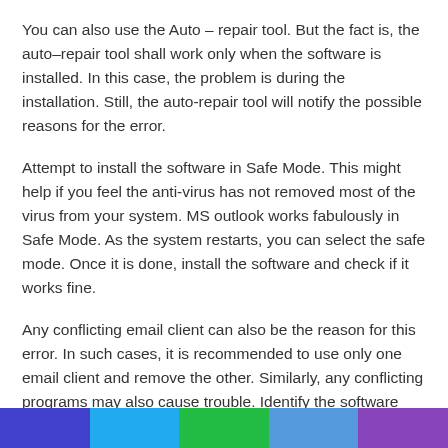You can also use the Auto – repair tool. But the fact is, the auto–repair tool shall work only when the software is installed. In this case, the problem is during the installation. Still, the auto-repair tool will notify the possible reasons for the error.
Attempt to install the software in Safe Mode. This might help if you feel the anti-virus has not removed most of the virus from your system. MS outlook works fabulously in Safe Mode. As the system restarts, you can select the safe mode. Once it is done, install the software and check if it works fine.
Any conflicting email client can also be the reason for this error. In such cases, it is recommended to use only one email client and remove the other. Similarly, any conflicting programs may also cause trouble. Identify the software and remove it